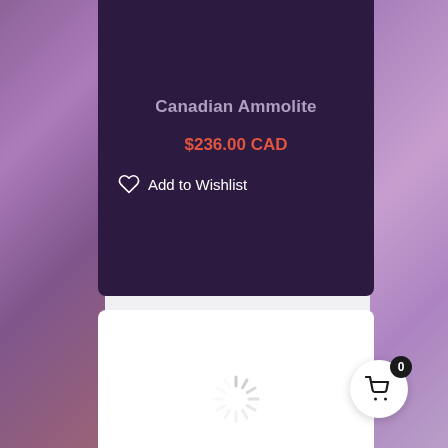Canadian Ammolite
$236.00 CAD
Add to Wishlist
[Figure (screenshot): Loading spinner (spinning radial lines) indicating content is loading in a white card area]
[Figure (infographic): Shopping cart floating action button with badge showing count 0]